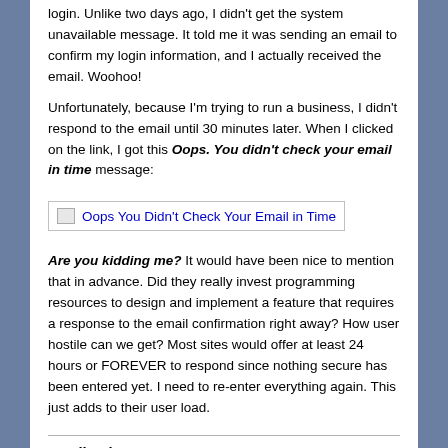login. Unlike two days ago, I didn't get the system unavailable message. It told me it was sending an email to confirm my login information, and I actually received the email. Woohoo!
Unfortunately, because I'm trying to run a business, I didn't respond to the email until 30 minutes later. When I clicked on the link, I got this Oops. You didn't check your email in time message:
[Figure (screenshot): Screenshot placeholder showing 'Oops You Didn't Check Your Email in Time' error message image with broken image icon and alt text]
Are you kidding me? It would have been nice to mention that in advance. Did they really invest programming resources to design and implement a feature that requires a response to the email confirmation right away? How user hostile can we get? Most sites would offer at least 24 hours or FOREVER to respond since nothing secure has been entered yet. I need to re-enter everything again. This just adds to their user load.
Application Status